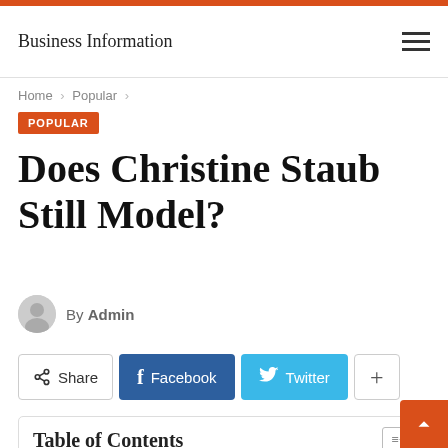Business Information
Home > Popular >
POPULAR
Does Christine Staub Still Model?
By Admin
Share  Facebook  Twitter  +
Table of Contents
1. Does Christine Staub still model?
2. What does Christine Staub do?